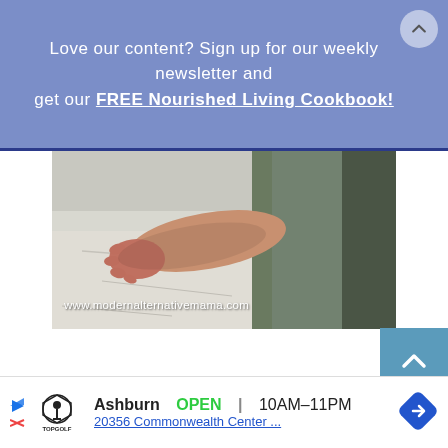Love our content? Sign up for our weekly newsletter and get our FREE Nourished Living Cookbook!
[Figure (photo): Close-up photo of a baby's arm and hand resting on a light surface with a green fabric visible, with website watermark www.modernalternativemama.com]
www.modernalternativemama.com
[Figure (other): Topgolf advertisement: Ashburn OPEN 10AM-11PM, 20356 Commonwealth Center...]